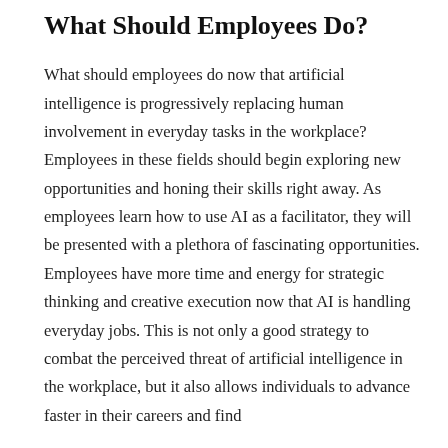What Should Employees Do?
What should employees do now that artificial intelligence is progressively replacing human involvement in everyday tasks in the workplace? Employees in these fields should begin exploring new opportunities and honing their skills right away. As employees learn how to use AI as a facilitator, they will be presented with a plethora of fascinating opportunities. Employees have more time and energy for strategic thinking and creative execution now that AI is handling everyday jobs. This is not only a good strategy to combat the perceived threat of artificial intelligence in the workplace, but it also allows individuals to advance faster in their careers and find